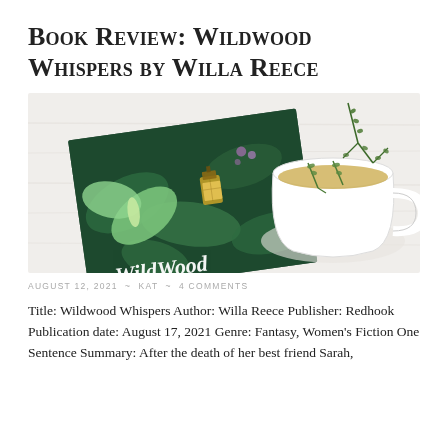Book Review: Wildwood Whispers by Willa Reece
[Figure (photo): Photo of the Wildwood Whispers book cover beside a white cup of herbal tea with sprigs of thyme on a white wooden surface]
AUGUST 12, 2021 ~ KAT ~ 4 COMMENTS
Title: Wildwood Whispers Author: Willa Reece Publisher: Redhook Publication date: August 17, 2021 Genre: Fantasy, Women's Fiction One Sentence Summary: After the death of her best friend Sarah,